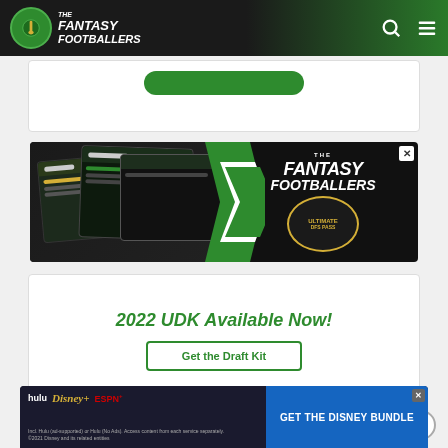The Fantasy Footballers
[Figure (screenshot): Partial white card with green button visible at top]
[Figure (screenshot): The Fantasy Footballers Ultimate DFS Pass advertisement banner with tablet/device images and green arrow graphic]
2022 UDK Available Now!
Get the Draft Kit
[Figure (screenshot): Hulu Disney+ ESPN+ GET THE DISNEY BUNDLE advertisement. Incl. Hulu (ad-supported) or Hulu (No Ads). Access content from each service separately. ©2021 Disney and its related entities]